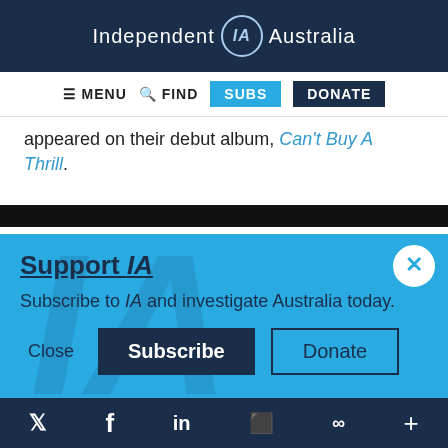Independent IA Australia
MENU  FIND  SUBS  DONATE
appeared on their debut album, Can't Buy A Thrill.
[Figure (screenshot): Partial dark image strip]
Support IA
Subscribe to IA and investigate Australia today.
Close  Subscribe  Donate
Twitter  Facebook  LinkedIn  Flipboard  Link  Plus